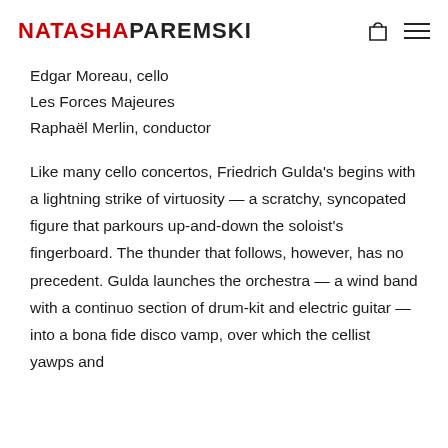NATASHA PAREMSKI
Edgar Moreau, cello
Les Forces Majeures
Raphaël Merlin, conductor
Like many cello concertos, Friedrich Gulda's begins with a lightning strike of virtuosity — a scratchy, syncopated figure that parkours up-and-down the soloist's fingerboard. The thunder that follows, however, has no precedent. Gulda launches the orchestra — a wind band with a continuo section of drum-kit and electric guitar — into a bona fide disco vamp, over which the cellist yawps and